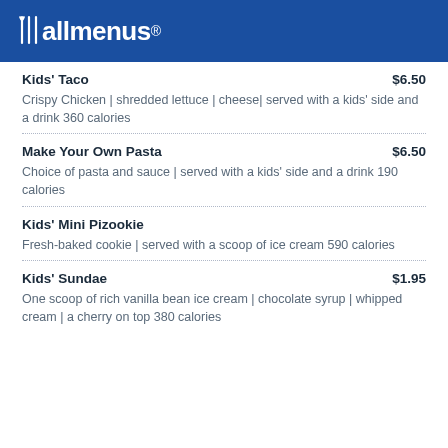allmenus
Kids' Taco $6.50
Crispy Chicken | shredded lettuce | cheese| served with a kids' side and a drink 360 calories
Make Your Own Pasta $6.50
Choice of pasta and sauce | served with a kids' side and a drink 190 calories
Kids' Mini Pizookie
Fresh-baked cookie | served with a scoop of ice cream 590 calories
Kids' Sundae $1.95
One scoop of rich vanilla bean ice cream | chocolate syrup | whipped cream | a cherry on top 380 calories